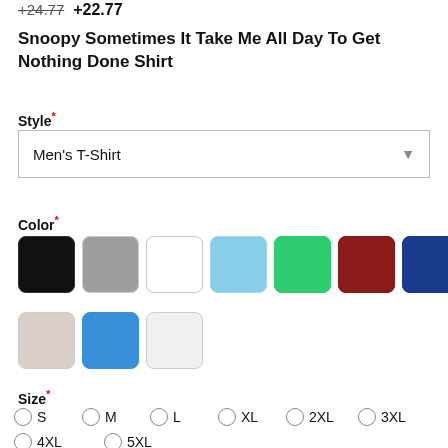+24.77  +22.77
Snoopy Sometimes It Take Me All Day To Get Nothing Done Shirt
Style*
Men's T-Shirt
Color*
[Figure (other): Color swatches: black, gray, white, light blue, green, dark red, navy blue, dark green, dark navy, slate gray, olive, tan/beige, blue, white/light gray]
Size*
S  M  L  XL  2XL  3XL  4XL  5XL